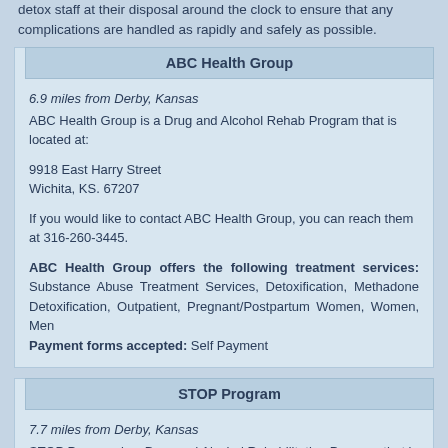detox staff at their disposal around the clock to ensure that any complications are handled as rapidly and safely as possible.
ABC Health Group
6.9 miles from Derby, Kansas
ABC Health Group is a Drug and Alcohol Rehab Program that is located at:

9918 East Harry Street
Wichita, KS. 67207

If you would like to contact ABC Health Group, you can reach them at 316-260-3445.

ABC Health Group offers the following treatment services: Substance Abuse Treatment Services, Detoxification, Methadone Detoxification, Outpatient, Pregnant/Postpartum Women, Women, Men
Payment forms accepted: Self Payment
STOP Program
7.7 miles from Derby, Kansas
STOP Program is a Drug and Alcohol Rehabilitation Program that is located at: